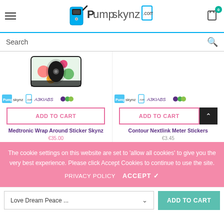[Figure (logo): Pumpskynz.com logo with insulin pump graphic]
Search
[Figure (photo): Medtronic Wrap Around Sticker product image with colorful floral pattern]
[Figure (logo): Pumpskynz brand logos row for left product]
ADD TO CART
[Figure (logo): Pumpskynz brand logos row for right product]
ADD TO CART
Medtronic Wrap Around Sticker Skynz
Contour Nextlink Meter Stickers
€3.45
The cookie settings on this website are set to 'allow all cookies' to give you the very best experience. Please click Accept Cookies to continue to use the site.
PRIVACY POLICY
ACCEPT ✔
Love Dream Peace ...
ADD TO CART